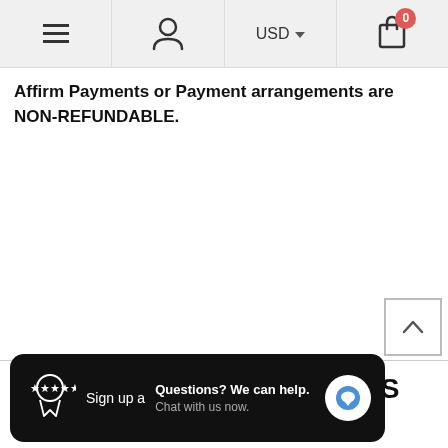Navigation bar with hamburger menu, user icon, USD currency selector, and cart (0 items)
Affirm Payments or Payment arrangements are NON-REFUNDABLE.
[Figure (screenshot): Scroll-to-top arrow button (chevron up) in a square border]
RELATED PRODUCTS
Sign up a
Questions? We can help. Chat with us now.